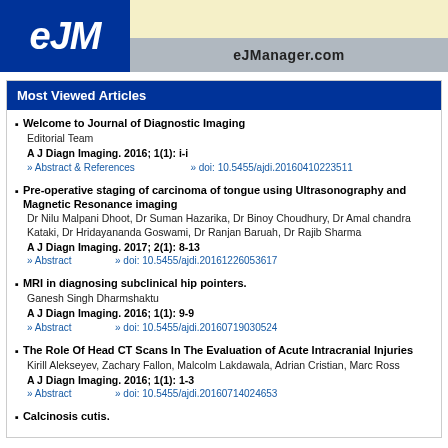[Figure (logo): eJM logo with blue background and eJManager.com banner]
Most Viewed Articles
Welcome to Journal of Diagnostic Imaging
Editorial Team
A J Diagn Imaging. 2016; 1(1): i-i
» Abstract & References   » doi: 10.5455/ajdi.20160410223511
Pre-operative staging of carcinoma of tongue using Ultrasonography and Magnetic Resonance imaging
Dr Nilu Malpani Dhoot, Dr Suman Hazarika, Dr Binoy Choudhury, Dr Amal chandra Kataki, Dr Hridayananda Goswami, Dr Ranjan Baruah, Dr Rajib Sharma
A J Diagn Imaging. 2017; 2(1): 8-13
» Abstract   » doi: 10.5455/ajdi.20161226053617
MRI in diagnosing subclinical hip pointers.
Ganesh Singh Dharmshaktu
A J Diagn Imaging. 2016; 1(1): 9-9
» Abstract   » doi: 10.5455/ajdi.20160719030524
The Role Of Head CT Scans In The Evaluation of Acute Intracranial Injuries
Kirill Alekseyev, Zachary Fallon, Malcolm Lakdawala, Adrian Cristian, Marc Ross
A J Diagn Imaging. 2016; 1(1): 1-3
» Abstract   » doi: 10.5455/ajdi.20160714024653
Calcinosis cutis.